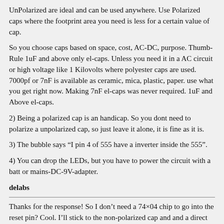UnPolarized are ideal and can be used anywhere. Use Polarized caps where the footprint area you need is less for a certain value of cap.
So you choose caps based on space, cost, AC-DC, purpose. Thumb-Rule 1uF and above only el-caps. Unless you need it in a AC circuit or high voltage like 1 Kilovolts where polyester caps are used. 7000pf or 7nF is available as ceramic, mica, plastic, paper. use what you get right now. Making 7nF el-caps was never required. 1uF and Above el-caps.
2) Being a polarized cap is an handicap. So you dont need to polarize a unpolarized cap, so just leave it alone, it is fine as it is.
3) The bubble says “I pin 4 of 555 have a inverter inside the 555”.
4) You can drop the LEDs, but you have to power the circuit with a batt or mains-DC-9V-adapter.
delabs
Thanks for the response! So I don’t need a 74×04 chip to go into the reset pin? Cool. I’ll stick to the non-polarized cap and and a direct input into the 555 pin 4. The board I’m using is powered by 6v. I hope this will do the trick, don’t want to go the rectifier route